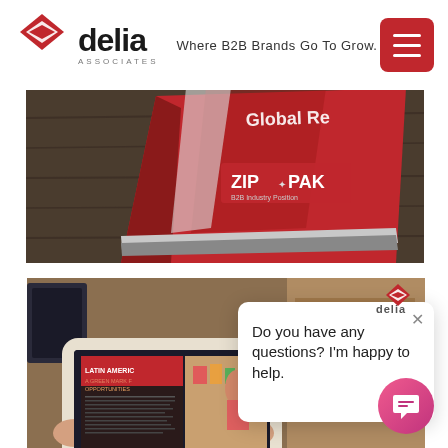[Figure (logo): Delia Associates logo with red diamond and text 'delia associates' with tagline 'Where B2B Brands Go To Grow.']
[Figure (photo): Red ZIP PAK book/brochure on a dark wood surface, with text 'Global Reach' and 'ZIP PAK' visible]
[Figure (photo): Hands holding a tablet showing a Latin America document with heading 'LATIN AMERICA: A GREEN MARKET FOR OPPORTUNITIES', with a grocery store scene in the background]
[Figure (other): Chat popup with Delia mini logo, X close button, and text 'Do you have any questions? I'm happy to help.' with a pink chat bubble icon in bottom right]